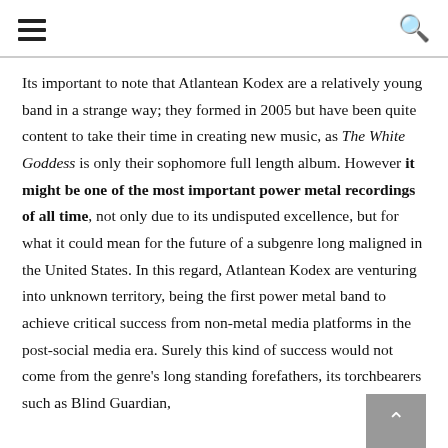[hamburger menu icon] [search icon]
Its important to note that Atlantean Kodex are a relatively young band in a strange way; they formed in 2005 but have been quite content to take their time in creating new music, as The White Goddess is only their sophomore full length album. However it might be one of the most important power metal recordings of all time, not only due to its undisputed excellence, but for what it could mean for the future of a subgenre long maligned in the United States. In this regard, Atlantean Kodex are venturing into unknown territory, being the first power metal band to achieve critical success from non-metal media platforms in the post-social media era. Surely this kind of success would not come from the genre's long standing forefathers, its torchbearers such as Blind Guardian,